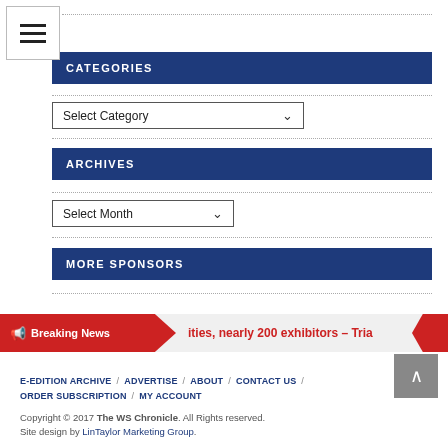[Figure (screenshot): Hamburger menu icon with three horizontal lines]
CATEGORIES
[Figure (screenshot): Select Category dropdown input]
ARCHIVES
[Figure (screenshot): Select Month dropdown input]
MORE SPONSORS
[Figure (infographic): Breaking News bar with text: ities, nearly 200 exhibitors – Tria]
E-EDITION ARCHIVE / ADVERTISE / ABOUT / CONTACT US / ORDER SUBSCRIPTION / MY ACCOUNT
Copyright © 2017 The WS Chronicle. All Rights reserved. Site design by LinTaylor Marketing Group.